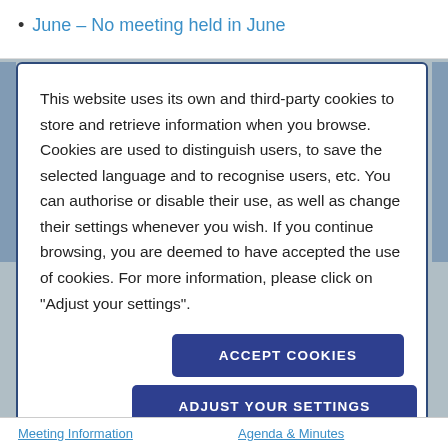June – No meeting held in June
This website uses its own and third-party cookies to store and retrieve information when you browse. Cookies are used to distinguish users, to save the selected language and to recognise users, etc. You can authorise or disable their use, as well as change their settings whenever you wish. If you continue browsing, you are deemed to have accepted the use of cookies. For more information, please click on "Adjust your settings".
ACCEPT COOKIES
ADJUST YOUR SETTINGS
Meeting Information   Agenda & Minutes